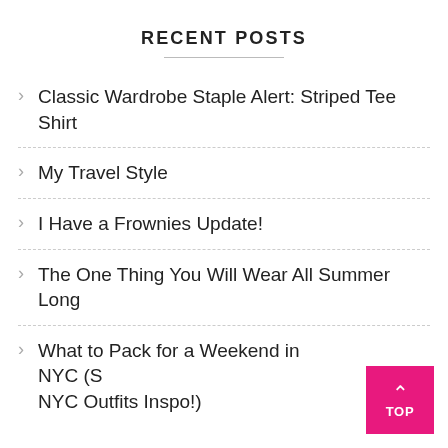RECENT POSTS
Classic Wardrobe Staple Alert: Striped Tee Shirt
My Travel Style
I Have a Frownies Update!
The One Thing You Will Wear All Summer Long
What to Pack for a Weekend in NYC (S… NYC Outfits Inspo!)